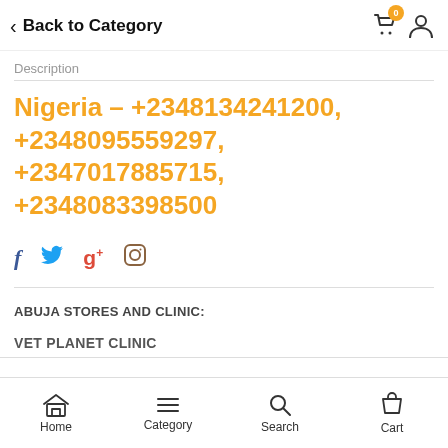Back to Category
Description
Nigeria – +2348134241200, +2348095559297, +2347017885715, +2348083398500
Social icons: Facebook, Twitter, Google+, Instagram
ABUJA STORES AND CLINIC:
VET PLANET CLINIC
Home  Category  Search  Cart